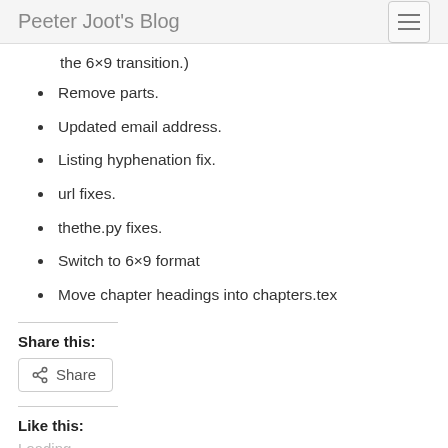Peeter Joot's Blog
the 6×9 transition.)
Remove parts.
Updated email address.
Listing hyphenation fix.
url fixes.
thethe.py fixes.
Switch to 6×9 format
Move chapter headings into chapters.tex
Share this:
Share
Like this:
Loading...